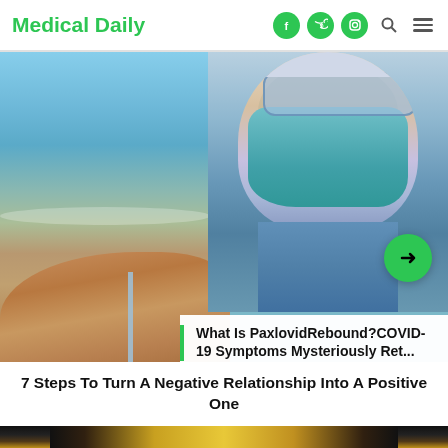Medical Daily
[Figure (photo): Medical Daily website screenshot showing a person wearing a teal N95 face mask (upper right) and a person's bare back at a beach (lower left), with a green next-arrow button overlay]
What Is PaxlovidRebound?COVID-19 Symptoms Mysteriously Ret...
7 Steps To Turn A Negative Relationship Into A Positive One
[Figure (photo): Partial view of a person with gold/metallic face makeup, cropped at the chin]